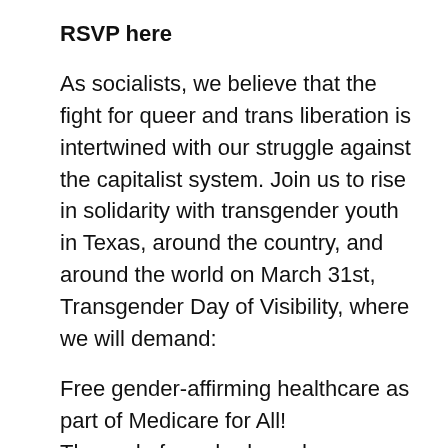RSVP here
As socialists, we believe that the fight for queer and trans liberation is intertwined with our struggle against the capitalist system. Join us to rise in solidarity with transgender youth in Texas, around the country, and around the world on March 31st, Transgender Day of Visibility, where we will demand:
Free gender-affirming healthcare as part of Medicare for All!
The end of gender-based discrimination and transphobia at schools and in the workplace!